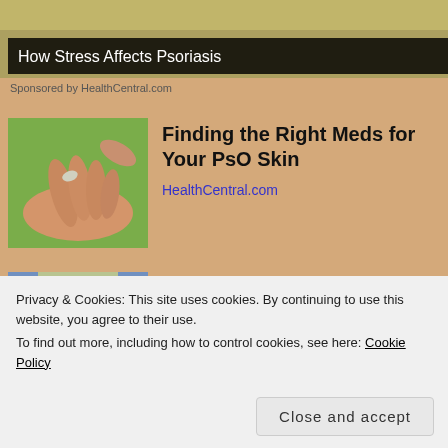[Figure (photo): Background image at top of page showing a blurred scene, with a dark overlay banner reading 'How Stress Affects Psoriasis']
Sponsored by HealthCentral.com
[Figure (photo): Close-up photo of a hand receiving a small object, suggesting medication or treatment, with a green background]
Finding the Right Meds for Your PsO Skin
HealthCentral.com
[Figure (photo): Photo of a busy grocery store aisle with shoppers]
$900 Grocery Allowance For Seniors On Medicare
Privacy & Cookies: This site uses cookies. By continuing to use this website, you agree to their use.
To find out more, including how to control cookies, see here: Cookie Policy